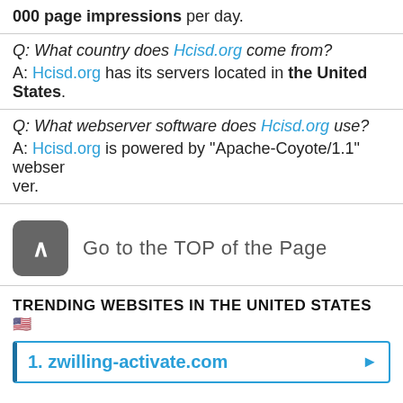000 page impressions per day.
Q: What country does Hcisd.org come from?
A: Hcisd.org has its servers located in the United States.
Q: What webserver software does Hcisd.org use?
A: Hcisd.org is powered by "Apache-Coyote/1.1" webserver.
Go to the TOP of the Page
TRENDING WEBSITES IN THE UNITED STATES
1. zwilling-activate.com